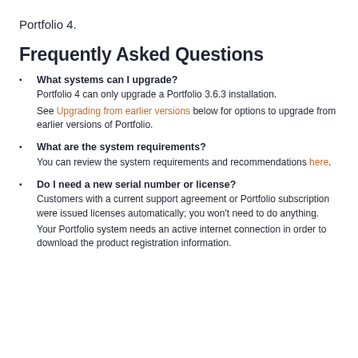Portfolio 4.
Frequently Asked Questions
What systems can I upgrade? Portfolio 4 can only upgrade a Portfolio 3.6.3 installation. See Upgrading from earlier versions below for options to upgrade from earlier versions of Portfolio.
What are the system requirements? You can review the system requirements and recommendations here.
Do I need a new serial number or license? Customers with a current support agreement or Portfolio subscription were issued licenses automatically; you won't need to do anything. Your Portfolio system needs an active internet connection in order to download the product registration information.